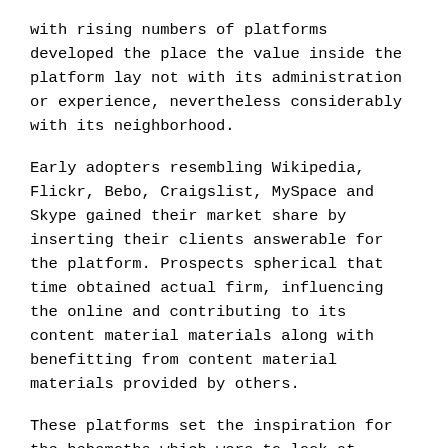with rising numbers of platforms developed the place the value inside the platform lay not with its administration or experience, nevertheless considerably with its neighborhood.
Early adopters resembling Wikipedia, Flickr, Bebo, Craigslist, MySpace and Skype gained their market share by inserting their clients answerable for the platform. Prospects spherical that time obtained actual firm, influencing the online and contributing to its content material materials along with benefitting from content material materials provided by others.
These platforms set the inspiration for the behemoths which were to look at inside the kind of Fb, Twitter, Snapchat and Instagram.